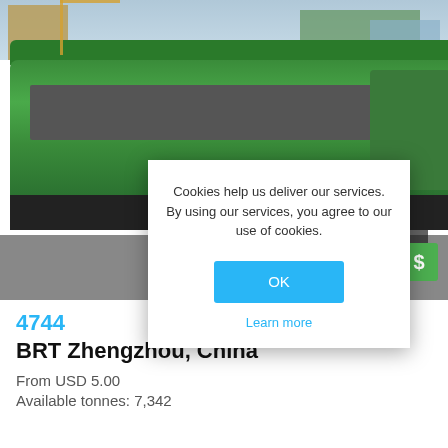[Figure (photo): Photo of green articulated BRT buses in Zhengzhou, China, with buildings in background. A cookie consent dialog overlays the photo.]
Cookies help us deliver our services. By using our services, you agree to our use of cookies.
OK
Learn more
4744
BRT Zhengzhou, China
From USD 5.00
Available tonnes: 7,342